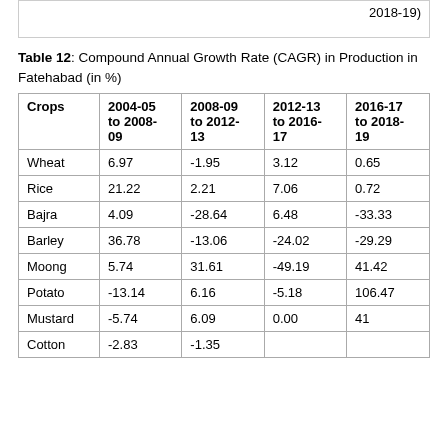2018-19)
Table 12: Compound Annual Growth Rate (CAGR) in Production in Fatehabad (in %)
| Crops | 2004-05 to 2008-09 | 2008-09 to 2012-13 | 2012-13 to 2016-17 | 2016-17 to 2018-19 |
| --- | --- | --- | --- | --- |
| Wheat | 6.97 | -1.95 | 3.12 | 0.65 |
| Rice | 21.22 | 2.21 | 7.06 | 0.72 |
| Bajra | 4.09 | -28.64 | 6.48 | -33.33 |
| Barley | 36.78 | -13.06 | -24.02 | -29.29 |
| Moong | 5.74 | 31.61 | -49.19 | 41.42 |
| Potato | -13.14 | 6.16 | -5.18 | 106.47 |
| Mustard | -5.74 | 6.09 | 0.00 | 41 |
| Cotton | -2.83 | -1.35 |  |  |